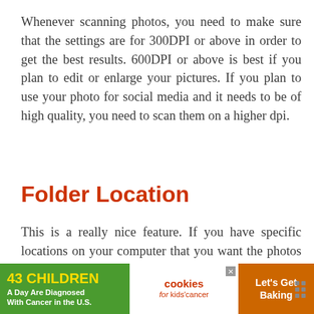Whenever scanning photos, you need to make sure that the settings are for 300DPI or above in order to get the best results. 600DPI or above is best if you plan to edit or enlarge your pictures. If you plan to use your photo for social media and it needs to be of high quality, you need to scan them on a higher dpi.
Folder Location
This is a really nice feature. If you have specific locations on your computer that you want the photos to go to, you can choose this in the folder location option.
[Figure (other): Advertisement banner at the bottom: green section '43 CHILDREN A Day Are Diagnosed With Cancer in the U.S.', white middle section with 'cookies for kids cancer' logo and close button, orange right section 'Let's Get Baking' with cookie image, and dark grey icon area on far right.]